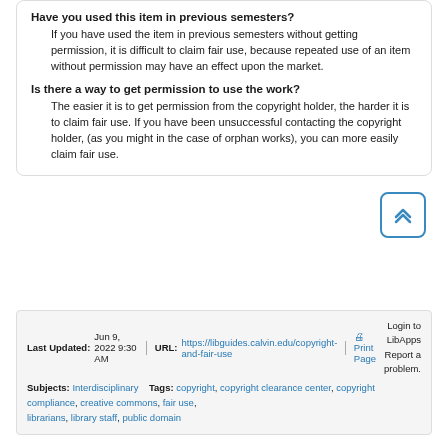Have you used this item in previous semesters?
If you have used the item in previous semesters without getting permission, it is difficult to claim fair use, because repeated use of an item without permission may have an effect upon the market.
Is there a way to get permission to use the work?
The easier it is to get permission from the copyright holder, the harder it is to claim fair use. If you have been unsuccessful contacting the copyright holder, (as you might in the case of orphan works), you can more easily claim fair use.
Last Updated: Jun 9, 2022 9:30 AM | URL: https://libguides.calvin.edu/copyright-and-fair-use | Print Page | Login to LibApps | Report a problem. | Subjects: Interdisciplinary | Tags: copyright, copyright clearance center, copyright compliance, creative commons, fair use, librarians, library staff, public domain